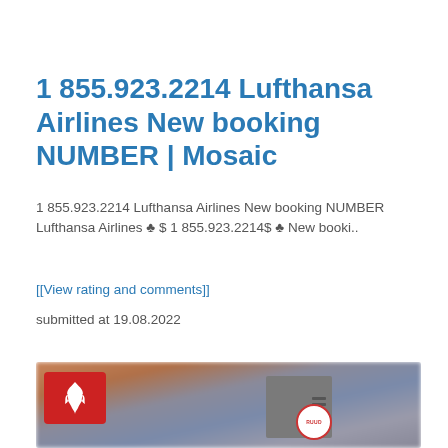1 855.923.2214 Lufthansa Airlines New booking NUMBER | Mosaic
1 855.923.2214 Lufthansa Airlines New booking NUMBER Lufthansa Airlines ♣ $ 1 855.923.2214$ ♣ New booki..
[[View rating and comments]]
submitted at 19.08.2022
[Figure (photo): A blurred photo showing industrial heating equipment with a red badge containing a flame icon on the left, a gray metal HVAC unit in the center-right, and a Ruud logo badge visible. Background shows blurred warm orange and cool blue tones.]